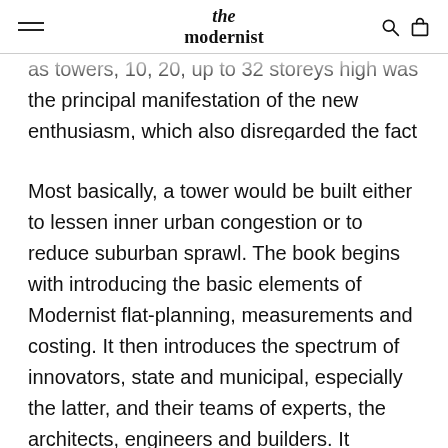the modernist
as towers, 10, 20, up to 32 storeys high was the principal manifestation of the new enthusiasm, which also disregarded the fact that such tower dwellings could cost twice as much as ordinary houses.
Most basically, a tower would be built either to lessen inner urban congestion or to reduce suburban sprawl. The book begins with introducing the basic elements of Modernist flat-planning, measurements and costing. It then introduces the spectrum of innovators, state and municipal, especially the latter, and their teams of experts, the architects, engineers and builders. It proceeds with a short narrative of the progress of height, from 6 to 32 storeys. This is followed by detailed